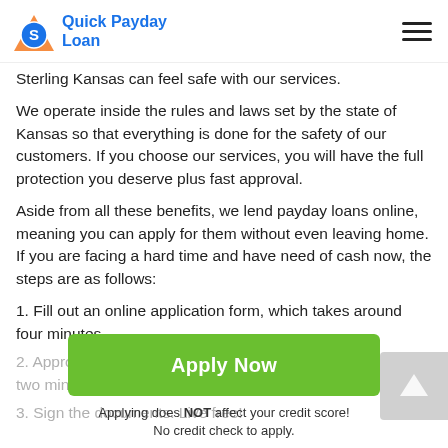Quick Payday Loan
Sterling Kansas can feel safe with our services.
We operate inside the rules and laws set by the state of Kansas so that everything is done for the safety of our customers. If you choose our services, you will have the full protection you deserve plus fast approval.
Aside from all these benefits, we lend payday loans online, meaning you can apply for them without even leaving home. If you are facing a hard time and have need of cash now, the steps are as follows:
1. Fill out an online application form, which takes around four minutes.
2. Approval is very quick, you should have to wait for about two minutes.
3. Sign the documents. Live free!
Apply Now
Applying does NOT affect your credit score!
No credit check to apply.